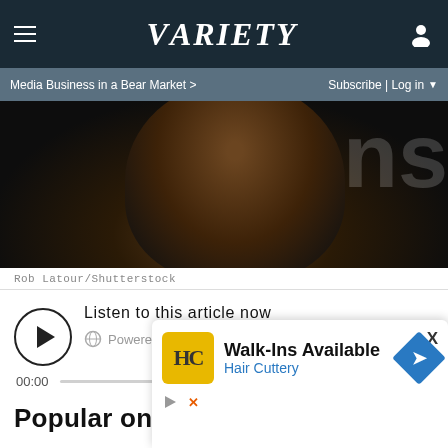Variety
Media Business in a Bear Market >  Subscribe | Log in
[Figure (photo): Dark photograph showing a person with dreadlocks from behind, dark background with partial text visible]
Rob Latour/Shutterstock
Listen to this article now  Powered by Trinity Audio  00:00  01:30  1.0×
Popular on Variety
[Figure (advertisement): Hair Cuttery advertisement: Walk-Ins Available, Hair Cuttery logo with HC monogram in yellow box, blue directional arrow icon]